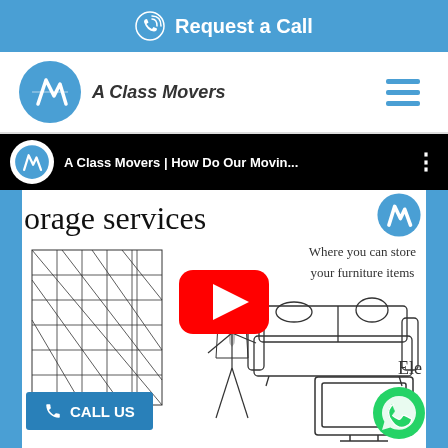Request a Call
[Figure (logo): A Class Movers logo with navigation bar and hamburger menu]
[Figure (screenshot): YouTube video thumbnail showing 'A Class Movers | How Do Our Movin...' with storage services content, play button, building illustration, person, sofa, TV, Call Us button, and WhatsApp icon]